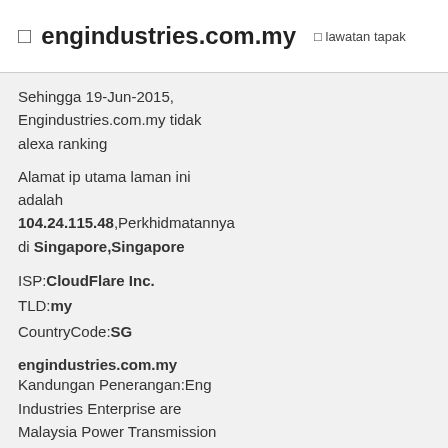☐ engindustries.com.my ☐ lawatan tapak
Sehingga 19-Jun-2015, Engindustries.com.my tidak alexa ranking
Alamat ip utama laman ini adalah 104.24.115.48,Perkhidmatannya di Singapore,Singapore
ISP:CloudFlare Inc.
TLD:my
CountryCode:SG
engindustries.com.my
Kandungan Penerangan:Eng Industries Enterprise are Malaysia Power Transmission